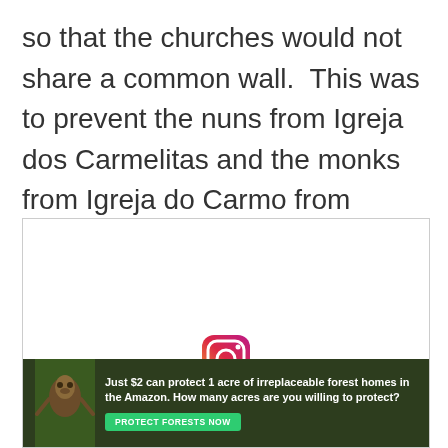so that the churches would not share a common wall.  This was to prevent the nuns from Igreja dos Carmelitas and the monks from Igreja do Carmo from having relations.
[Figure (other): A white box with a partially visible Instagram logo icon at the bottom center, and an advertisement banner at the bottom showing forest/Amazon imagery with a sloth, containing the text: 'Just $2 can protect 1 acre of irreplaceable forest homes in the Amazon. How many acres are you willing to protect?' with a green 'PROTECT FORESTS NOW' button.]